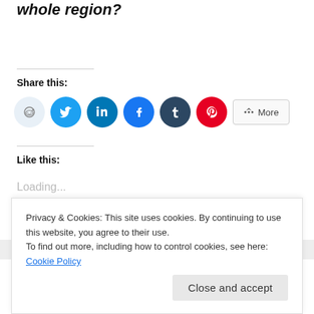whole region?
Share this:
[Figure (other): Social sharing buttons: Reddit, Twitter, LinkedIn, Facebook, Tumblr, Pinterest, and More]
Like this:
Loading...
Privacy & Cookies: This site uses cookies. By continuing to use this website, you agree to their use.
To find out more, including how to control cookies, see here: Cookie Policy
Close and accept